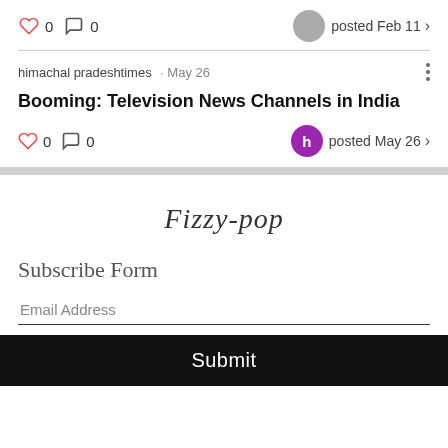0  0  posted Feb 11 >
himachal pradeshtimes · May 26
Booming: Television News Channels in India
0  0  posted May 26 >
Fizzy-pop
Subscribe Form
Email Address
Submit